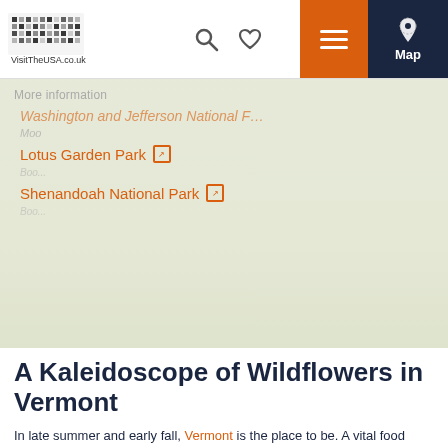VisitTheUSA.co.uk navigation bar with logo, search, heart, menu, and map icons
More information
Washington and Jefferson National F... (partially visible)
Lotus Garden Park
Shenandoah National Park
A Kaleidoscope of Wildflowers in Vermont
In late summer and early fall, Vermont is the place to be. A vital food source for butterflies and other insects, the variety of blooms creates a multi-hued show for visitors as the months turn cooler. The most abundant flower grown throughout the state is Queen Anne's lace, a delicate white fern that blooms in late August. Travel to the Green Mountain National Forest in August and September to witness rainfields of Golden and blooms, and while the